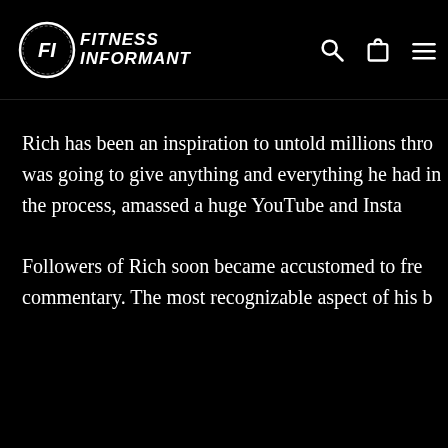Fitness Informant [logo] [search icon] [cart icon] [menu icon]
Rich has been an inspiration to untold millions thro... was going to give anything and everything he had... in the process, amassed a huge YouTube and Insta...
Followers of Rich soon became accustomed to fre... commentary. The most recognizable aspect of his b...